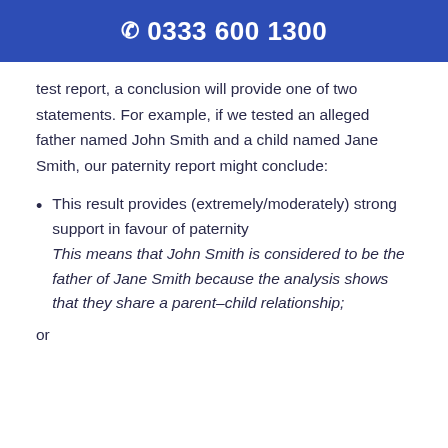📞 0333 600 1300
test report, a conclusion will provide one of two statements. For example, if we tested an alleged father named John Smith and a child named Jane Smith, our paternity report might conclude:
This result provides (extremely/moderately) strong support in favour of paternity This means that John Smith is considered to be the father of Jane Smith because the analysis shows that they share a parent–child relationship;
or